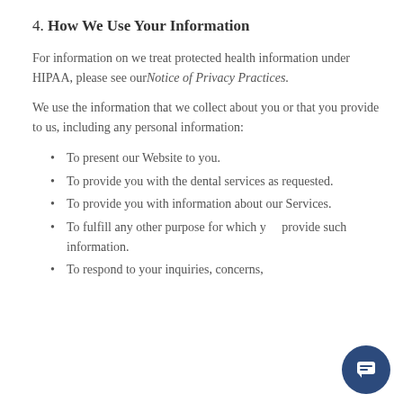4. How We Use Your Information
For information on we treat protected health information under HIPAA, please see ourNotice of Privacy Practices.
We use the information that we collect about you or that you provide to us, including any personal information:
To present our Website to you.
To provide you with the dental services as requested.
To provide you with information about our Services.
To fulfill any other purpose for which you provide such information.
To respond to your inquiries, concerns,